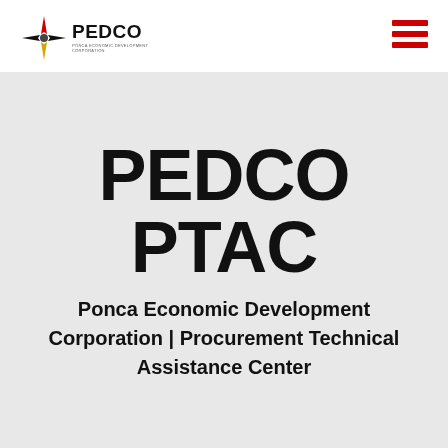[Figure (logo): PEDCO logo with compass/star icon in red, yellow, black colors and PEDCO text with tagline]
[Figure (other): Hamburger menu icon with three red horizontal lines]
PEDCO PTAC
Ponca Economic Development Corporation | Procurement Technical Assistance Center